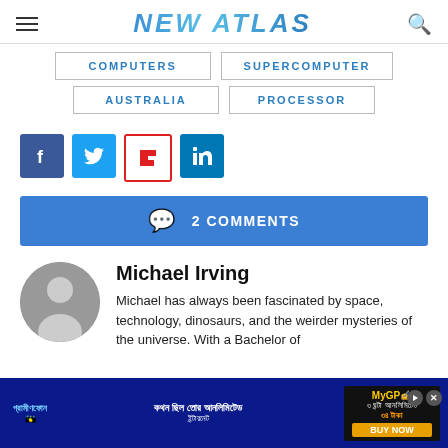NEW ATLAS
COMPUTERS
SUPERCOMPUTER
AUSTRALIA
PROCESSOR
[Figure (infographic): Social share buttons: Facebook, Twitter, Flipboard, LinkedIn]
2 COMMENTS
Michael Irving
Michael has always been fascinated by space, technology, dinosaurs, and the weirder mysteries of the universe. With a Bachelor of ...ears ...atlas
[Figure (photo): Advertisement banner in Bengali language]